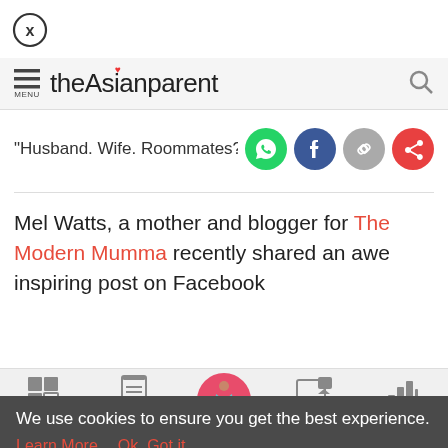[Figure (logo): Close button - circle with X]
theAsianparent
"Husband. Wife. Roommates?": This
Mel Watts, a mother and blogger for The Modern Mumma recently shared an awe inspiring post on Facebook
[Figure (infographic): Bottom navigation bar with Tools, Articles, Home (pregnant woman icon), Feed, Poll]
We use cookies to ensure you get the best experience. Learn More   Ok, Got it